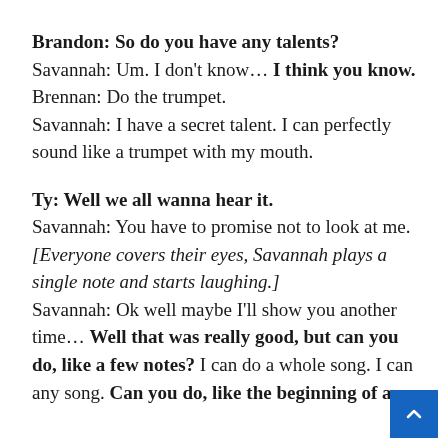Brandon: So do you have any talents? Savannah: Um. I don't know… I think you know. Brennan: Do the trumpet. Savannah: I have a secret talent. I can perfectly sound like a trumpet with my mouth.
Ty: Well we all wanna hear it. Savannah: You have to promise not to look at me. [Everyone covers their eyes, Savannah plays a single note and starts laughing.] Savannah: Ok well maybe I'll show you another time… Well that was really good, but can you do, like a few notes? I can do a whole song. I can any song. Can you do, like the beginning of a